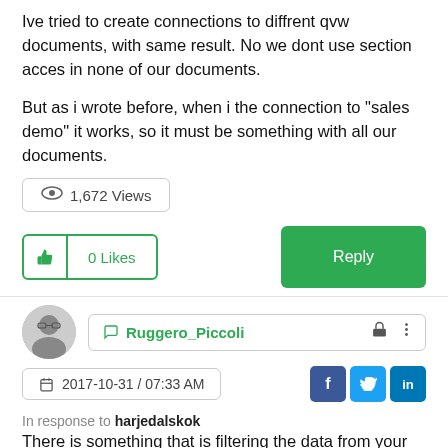Ive tried to create connections to diffrent qvw documents, with same result. No we dont use section acces in none of our documents.
But as i wrote before, when i the connection to "sales demo" it works, so it must be something with all our documents.
1,672 Views
0 Likes
Reply
Ruggero_Piccoli
2017-10-31 / 07:33 AM
In response to harjedalskok
There is something that is filtering the data from your documents. The report is created correctly because you see the